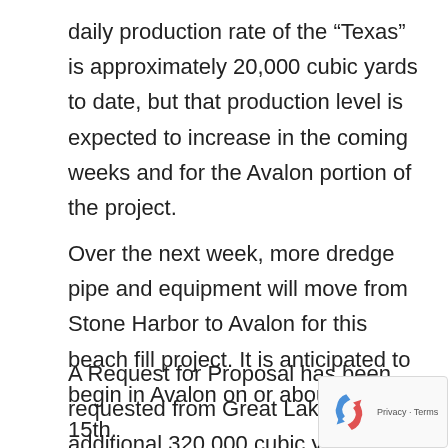daily production rate of the “Texas” is approximately 20,000 cubic yards to date, but that production level is expected to increase in the coming weeks and for the Avalon portion of the project.
Over the next week, more dredge pipe and equipment will move from Stone Harbor to Avalon for this beach fill project. It is anticipated to begin in Avalon on or about March 15th.
A Request for Proposal has been requested from Great Lakes for an additional 320,000 cubic y... of sand that would be financed through